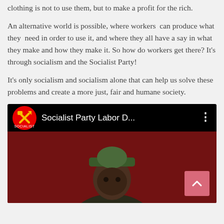clothing is not to use them, but to make a profit for the rich.
An alternative world is possible, where workers can produce what they need in order to use it, and where they all have a say in what they make and how they make it. So how do workers get there? It's through socialism and the Socialist Party!
It's only socialism and socialism alone that can help us solve these problems and create a more just, fair and humane society.
[Figure (screenshot): YouTube-style video thumbnail showing a Socialist Party Labor D... video with a channel icon featuring crossed tools on a red circle, and a person wearing a green cap against a dark red background. A scroll-to-top button is visible at the bottom right.]